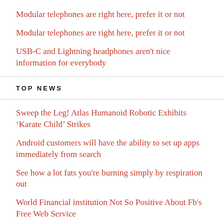Modular telephones are right here, prefer it or not
Modular telephones are right here, prefer it or not
USB-C and Lightning headphones aren't nice information for everybody
TOP NEWS
Sweep the Leg! Atlas Humanoid Robotic Exhibits ‘Karate Child’ Strikes
Android customers will have the ability to set up apps immediately from search
See how a lot fats you're burning simply by respiration out
World Financial institution Not So Positive About Fb's Free Web Service